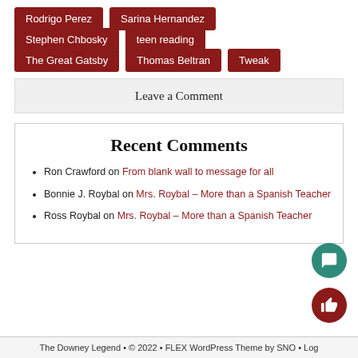Rodrigo Perez
Sarina Hernandez
Stephen Chbosky
teen reading
The Great Gatsby
Thomas Beltran
Tweak
Leave a Comment
Recent Comments
Ron Crawford on From blank wall to message for all
Bonnie J. Roybal on Mrs. Roybal – More than a Spanish Teacher
Ross Roybal on Mrs. Roybal – More than a Spanish Teacher
The Downey Legend • © 2022 • FLEX WordPress Theme by SNO • Log